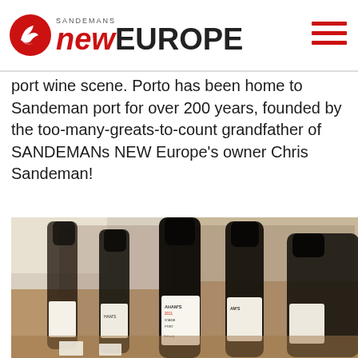[Figure (logo): SANDEMANs NEW EUROPE logo with red circular icon containing a leaf/bird shape, text 'SANDEMANS' in small caps above, 'new' in red italic bold and 'EUROPE' in dark bold large text]
port wine scene. Porto has been home to Sandeman port for over 200 years, founded by the too-many-greats-to-count grandfather of SANDEMANs NEW Europe's owner Chris Sandeman!
[Figure (photo): Photograph of multiple dark wine bottles (Graham's Vintage Port) lined up on a wooden surface, viewed at an angle, with white labels visible]